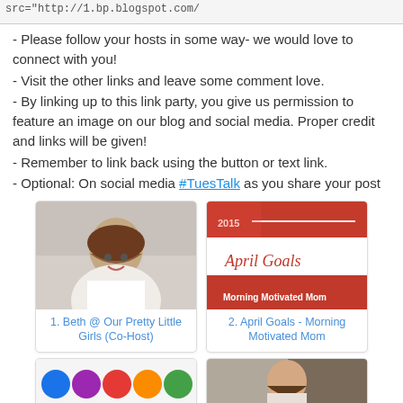src="http://1.bp.blogspot.com/
- Please follow your hosts in some way- we would love to connect with you!
- Visit the other links and leave some comment love.
- By linking up to this link party, you give us permission to feature an image on our blog and social media. Proper credit and links will be given!
- Remember to link back using the button or text link.
- Optional: On social media #TuesTalk as you share your post
[Figure (photo): Photo of Beth, a woman with long dark hair smiling, wearing a white shirt]
1. Beth @ Our Pretty Little Girls (Co-Host)
[Figure (photo): April Goals - Morning Motivated Mom blog graphic with red tulips and script text]
2. April Goals - Morning Motivated Mom
[Figure (photo): Colorful buttons or circles on white background]
[Figure (photo): Woman smiling outdoors near brick wall]